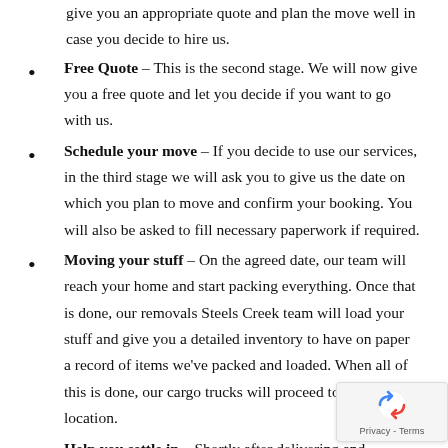give you an appropriate quote and plan the move well in case you decide to hire us.
Free Quote – This is the second stage. We will now give you a free quote and let you decide if you want to go with us.
Schedule your move – If you decide to use our services, in the third stage we will ask you to give us the date on which you plan to move and confirm your booking. You will also be asked to fill necessary paperwork if required.
Moving your stuff – On the agreed date, our team will reach your home and start packing everything. Once that is done, our removals Steels Creek team will load your stuff and give you a detailed inventory to have on paper a record of items we've packed and loaded. When all of this is done, our cargo trucks will proceed to the new location.
Help you settle in – Shortly after delivering and unloading your stuff, our furniture removals Steels Creek professionals will...